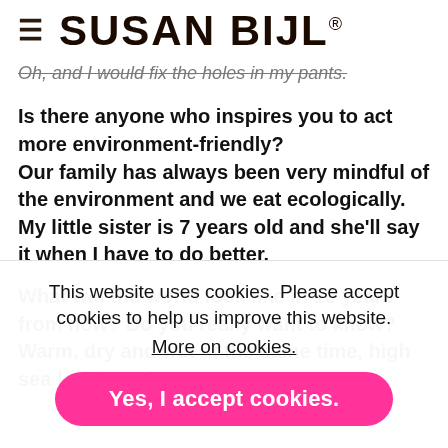≡ SUSAN BIJL®
Oh, and I would fix the holes in my pants.
Is there anyone who inspires you to act more environment-friendly?
Our family has always been very mindful of the environment and we eat ecologically. My little sister is 7 years old and she'll say it when I have to do better.
What will the world look like in 10 years from now? Do you really want to know? Warm, dry and wet at the same time, high sea levels and many
This website uses cookies. Please accept cookies to help us improve this website.
More on cookies.
Yes, I accept cookies.